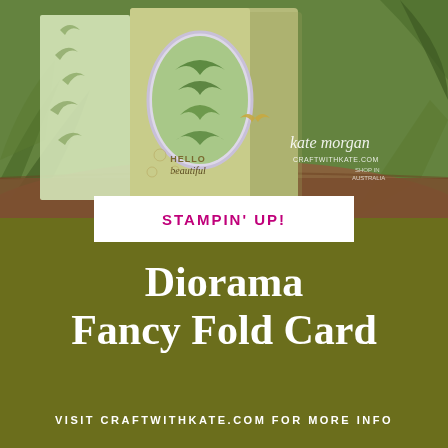[Figure (photo): A handcrafted Stampin' Up! Diorama Fancy Fold Card displayed on a wooden surface with fern/botanical patterned background. The card is olive green with an oval window showing layered botanical elements, a butterfly charm, and 'Hello Beautiful' stamped text. Kate Morgan / craftwithkate.com watermark visible.]
STAMPIN' UP!
Diorama Fancy Fold Card
VISIT CRAFTWITHKATE.COM FOR MORE INFO